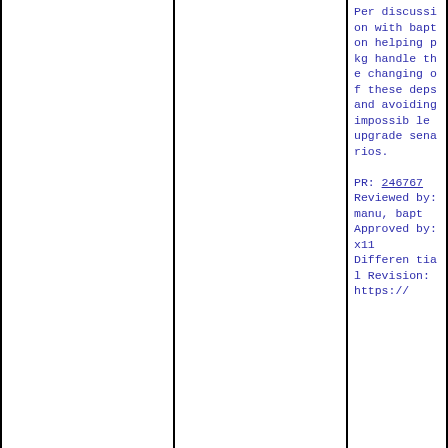Per discussion with bapt on helping pkg handle the changing of these deps and avoiding impossible upgrade senarios.

PR: 246767
Reviewed by: manu, bapt
Approved by: x11
Differential Revision: https://